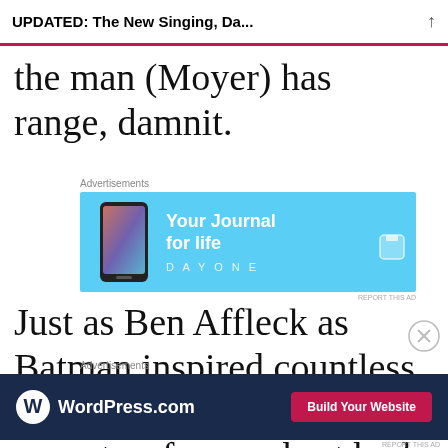UPDATED: The New Singing, Da...
the man (Moyer) has range, damnit.
[Figure (other): Advertisement banner for DayOne journal app with blue background showing phone and text 'Your Journal for life DAYONE']
Just as Ben Affleck as Batman inspired countless jokes about his Boston accent or famous best bud Matt Damon being right behind him
[Figure (other): Advertisement banner for WordPress.com with dark navy background, WordPress logo, and 'Build Your Website' pink button]